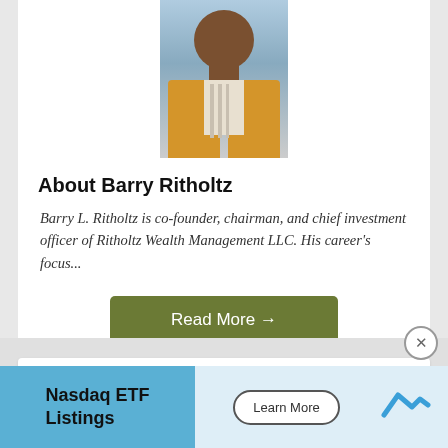[Figure (photo): Headshot of Barry Ritholtz, a man wearing an orange jacket and striped shirt, cropped to show face and upper torso against outdoor background]
About Barry Ritholtz
Barry L. Ritholtz is co-founder, chairman, and chief investment officer of Ritholtz Wealth Management LLC. His career's focus...
Read More →
Say Hello
[Figure (infographic): Three green social media icon buttons: Twitter bird icon, Facebook f icon, LinkedIn in icon]
[Figure (infographic): Advertisement banner: Nasdaq ETF Listings with Learn More button and Nasdaq logo]